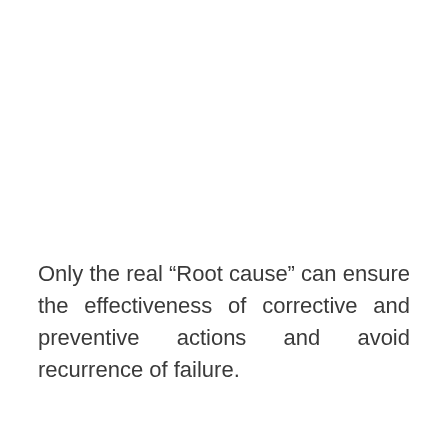Only the real “Root cause” can ensure the effectiveness of corrective and preventive actions and avoid recurrence of failure.